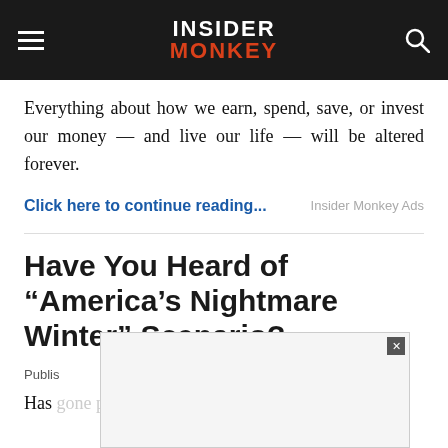INSIDER MONKEY
Everything about how we earn, spend, save, or invest our money — and live our life — will be altered forever.
Click here to continue...
Insider Monkey Ads
Have You Heard of “America’s Nightmare Winter” Scenario?
Publis
Has gone public in recent weeks. With this — and